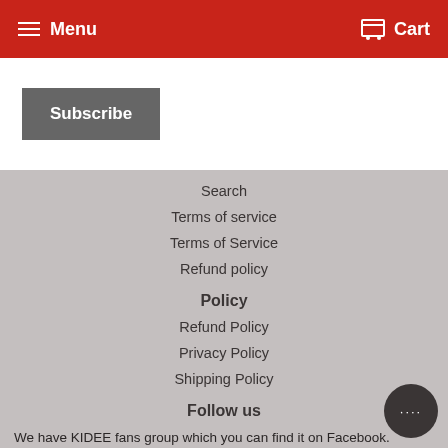Menu   Cart
Subscribe
Search
Terms of service
Terms of Service
Refund policy
Policy
Refund Policy
Privacy Policy
Shipping Policy
Follow us
We have KIDEE fans group which you can find it on Facebook.
Join us for all the latest product information and best moments.